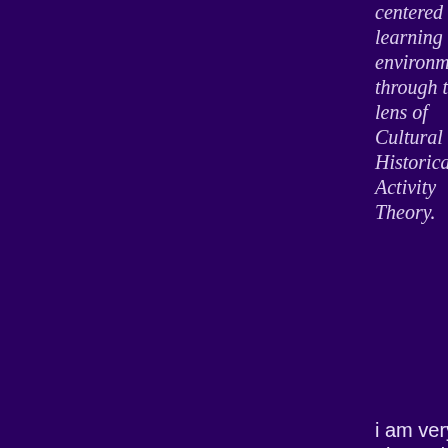centered learning environment through the lens of Cultural Historical Activity Theory.
i am very pleased to share that Hon Jia's candidature is at the stage where his oral examination is presently being arranged.